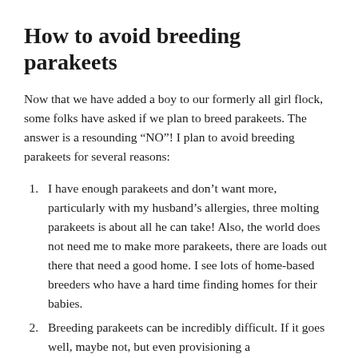How to avoid breeding parakeets
Now that we have added a boy to our formerly all girl flock, some folks have asked if we plan to breed parakeets. The answer is a resounding “NO”! I plan to avoid breeding parakeets for several reasons:
I have enough parakeets and don’t want more, particularly with my husband’s allergies, three molting parakeets is about all he can take! Also, the world does not need me to make more parakeets, there are loads out there that need a good home. I see lots of home-based breeders who have a hard time finding homes for their babies.
Breeding parakeets can be incredibly difficult. If it goes well, maybe not, but even provisioning a